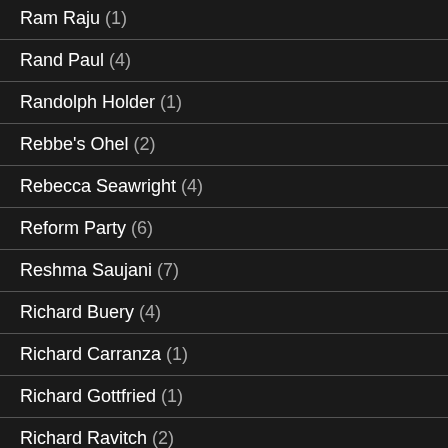Ram Raju (1)
Rand Paul (4)
Randolph Holder (1)
Rebbe's Ohel (2)
Rebecca Seawright (4)
Reform Party (6)
Reshma Saujani (7)
Richard Buery (4)
Richard Carranza (1)
Richard Gottfried (1)
Richard Ravitch (2)
Rick Chandler (1)
Rick Perry (1)